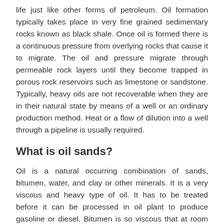life just like other forms of petroleum. Oil formation typically takes place in very fine grained sedimentary rocks known as black shale. Once oil is formed there is a continuous pressure from overlying rocks that cause it to migrate. The oil and pressure migrate through permeable rock layers until they become trapped in porous rock reservoirs such as limestone or sandstone. Typically, heavy oils are not recoverable when they are in their natural state by means of a well or an ordinary production method. Heat or a flow of dilution into a well through a pipeline is usually required.
What is oil sands?
Oil is a natural occurring combination of sands, bitumen, water, and clay or other minerals. It is a very viscous and heavy type of oil. It has to be treated before it can be processed in oil plant to produce gasoline or diesel. Bitumen is so viscous that at room temperature it turns